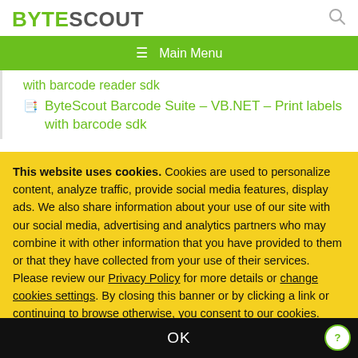BYTESCOUT [search icon]
≡ Main Menu
with barcode reader sdk
ByteScout Barcode Suite – VB.NET – Print labels with barcode sdk
This website uses cookies. Cookies are used to personalize content, analyze traffic, provide social media features, display ads. We also share information about your use of our site with our social media, advertising and analytics partners who may combine it with other information that you have provided to them or that they have collected from your use of their services. Please review our Privacy Policy for more details or change cookies settings. By closing this banner or by clicking a link or continuing to browse otherwise, you consent to our cookies.
OK